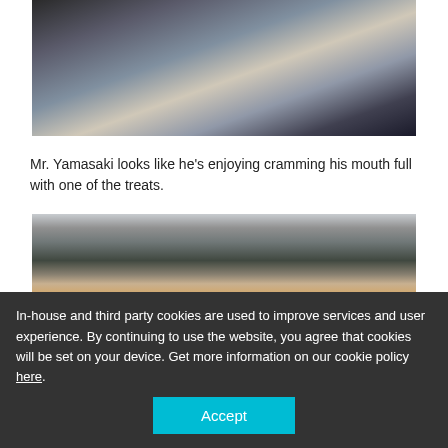[Figure (photo): Close-up photo of Mr. Yamasaki eating/cramming food into his mouth, wearing a dark jacket, indoor setting]
Mr. Yamasaki looks like he's enjoying cramming his mouth full with one of the treats.
[Figure (photo): Group of people sitting at tables in what appears to be a cafeteria or dining area, shot from above/behind]
In-house and third party cookies are used to improve services and user experience. By continuing to use the website, you agree that cookies will be set on your device. Get more information on our cookie policy here.
Accept